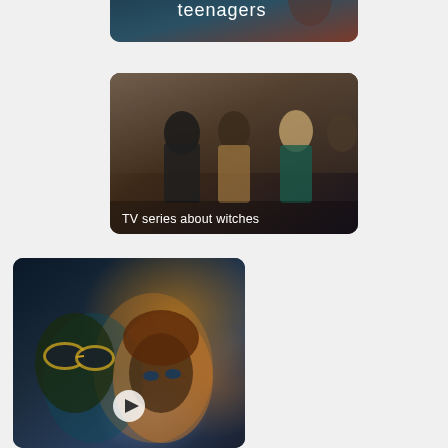[Figure (screenshot): Partially visible card with text 'teenagers' on dark teal/brown background]
[Figure (screenshot): Card showing three women in dark cave-like setting with overlay text 'TV series about witches']
[Figure (screenshot): Partially visible card showing woman with sunglasses in dark blue/orange tones with a play button]